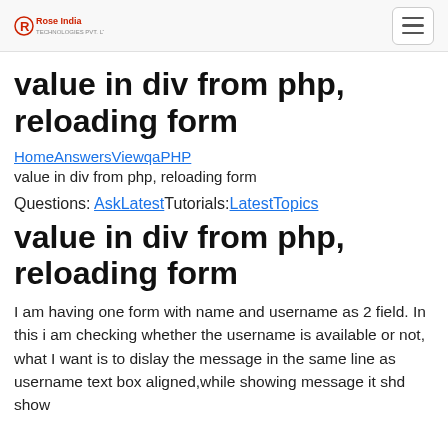Rose India [logo] [hamburger menu]
value in div from php, reloading form
HomeAnswersViewqaPHP
value in div from php, reloading form
Questions: AskLatestTutorials:LatestTopics
value in div from php, reloading form
I am having one form with name and username as 2 field. In this i am checking whether the username is available or not, what I want is to dislay the message in the same line as username text box aligned,while showing message it shd show